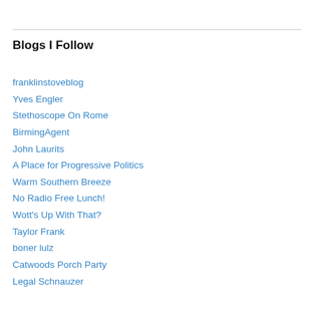Blogs I Follow
franklinstoveblog
Yves Engler
Stethoscope On Rome
BirmingAgent
John Laurits
A Place for Progressive Politics
Warm Southern Breeze
No Radio Free Lunch!
Wott's Up With That?
Taylor Frank
boner lulz
Catwoods Porch Party
Legal Schnauzer